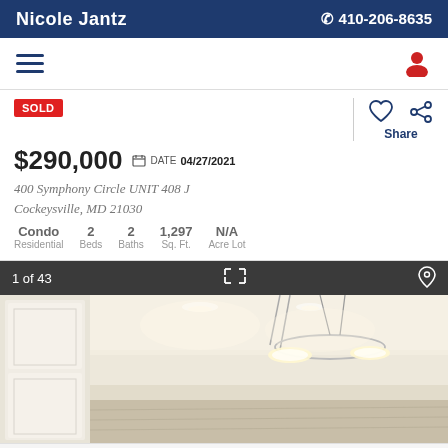Nicole Jantz   📞 410-206-8635
[Figure (screenshot): Navigation bar with hamburger menu icon on left and user profile icon on right]
SOLD
$290,000  DATE 04/27/2021
400 Symphony Circle UNIT 408 J Cockeysville, MD 21030
Condo Residential  2 Beds  2 Baths  1,297 Sq. Ft.  N/A Acre Lot
[Figure (photo): Interior photo of a condominium living area showing recessed ceiling lights, a modern chandelier/pendant light fixture, white doors/cabinets on the left, and a glimpse of another room on the right]
Contact Agent